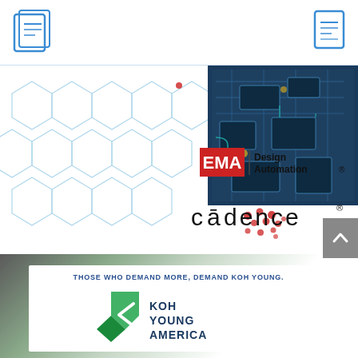Document viewer header with navigation icons
[Figure (illustration): Hero section with hexagonal wireframe grid pattern on the left and a PCB circuit board photo on the upper right, with red dot scatter pattern overlay]
[Figure (logo): EMA Design Automation logo - red EMA box with black Design Automation text]
[Figure (logo): Cadence logo in dark text with macron over the a]
[Figure (illustration): Koh Young America advertisement section with green gradient background, white card, tagline THOSE WHO DEMAND MORE, DEMAND KOH YOUNG, and Koh Young America logo with green diamond shape and arrow]
THOSE WHO DEMAND MORE, DEMAND KOH YOUNG.